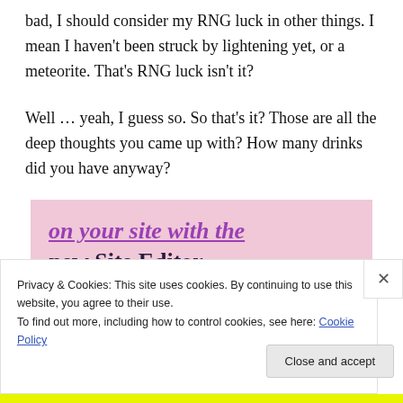bad, I should consider my RNG luck in other things. I mean I haven't been struck by lightening yet, or a meteorite. That's RNG luck isn't it?
Well … yeah, I guess so. So that's it? Those are all the deep thoughts you came up with? How many drinks did you have anyway?
[Figure (screenshot): Pink advertisement banner with text 'on your site with the new Site Editor.' and a dark purple 'Start Today' button]
Privacy & Cookies: This site uses cookies. By continuing to use this website, you agree to their use.
To find out more, including how to control cookies, see here: Cookie Policy
Close and accept